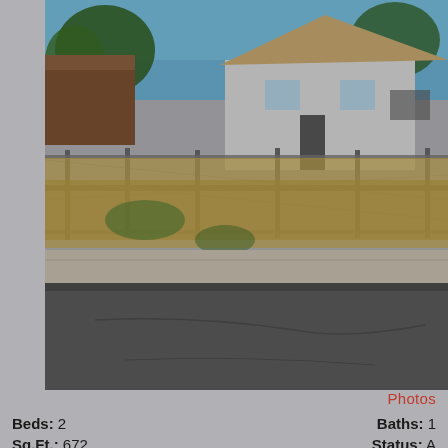[Figure (photo): Street-level view of a vacant lot with chain-link fence, dry grass, and a white house visible in the background under a blue sky with trees. A street and sidewalk are in the foreground.]
Photos
Beds: 2
Baths: 1
Sq.Ft.: 672
Status: A